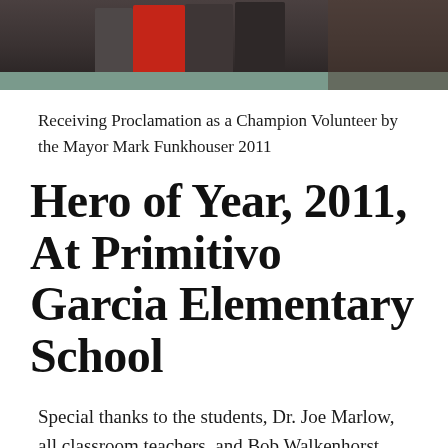[Figure (photo): A photograph showing people posing together, partially cropped at the top of the page. Figures visible against a dark background with what appears to be a room setting.]
Receiving Proclamation as a Champion Volunteer by the Mayor Mark Funkhouser 2011
Hero of Year, 2011, At Primitivo Garcia Elementary School
Special thanks to the students, Dr. Joe Marlow, all classroom teachers, and Bob Walkenhorst